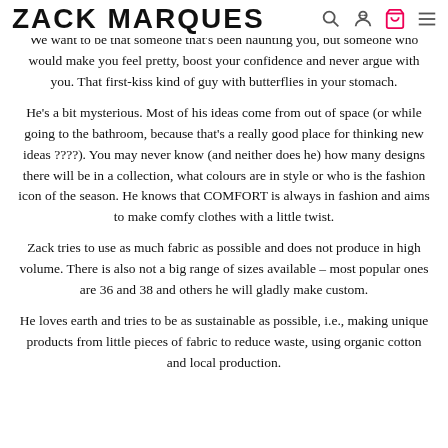ZACK MARQUES
We want to be that someone that's been haunting you, but someone who would make you feel pretty, boost your confidence and never argue with you. That first-kiss kind of guy with butterflies in your stomach.
He's a bit mysterious. Most of his ideas come from out of space (or while going to the bathroom, because that's a really good place for thinking new ideas ????). You may never know (and neither does he) how many designs there will be in a collection, what colours are in style or who is the fashion icon of the season. He knows that COMFORT is always in fashion and aims to make comfy clothes with a little twist.
Zack tries to use as much fabric as possible and does not produce in high volume. There is also not a big range of sizes available – most popular ones are 36 and 38 and others he will gladly make custom.
He loves earth and tries to be as sustainable as possible, i.e., making unique products from little pieces of fabric to reduce waste, using organic cotton and local production.